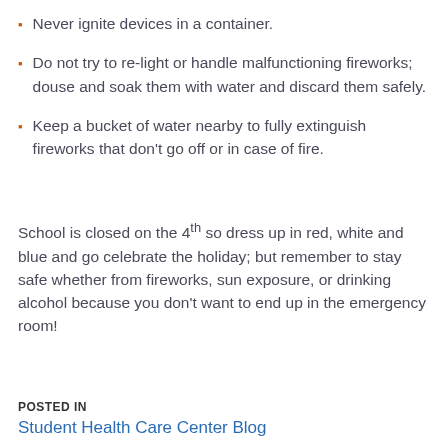Never ignite devices in a container.
Do not try to re-light or handle malfunctioning fireworks; douse and soak them with water and discard them safely.
Keep a bucket of water nearby to fully extinguish fireworks that don't go off or in case of fire.
School is closed on the 4th so dress up in red, white and blue and go celebrate the holiday; but remember to stay safe whether from fireworks, sun exposure, or drinking alcohol because you don't want to end up in the emergency room!
POSTED IN
Student Health Care Center Blog